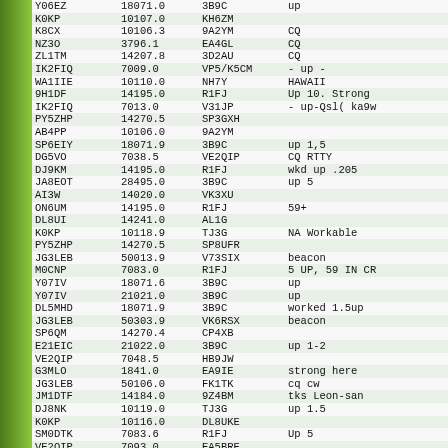| Callsign | Frequency | DX | Comment |
| --- | --- | --- | --- |
| Y06EZ | 18071.0 | 3B9C | up |
| K0KP | 10107.0 | KH6ZM |  |
| K8CX | 10106.3 | 9A2YM | CQ |
| NZ3O | 3796.1 | EA4GL | CQ |
| ZL1TM | 14207.8 | 3D2AU | CQ |
| IK2FIQ | 7009.0 | VP5/K5CM | - up - |
| WA1IIE | 10110.0 | NH7Y | HAWAII |
| 9H1DF | 14195.0 | R1FJ | Up 10. Strong |
| IK2FIQ | 7013.0 | V31JP | - up-Qsl( ka9w |
| PY5ZHP | 14270.5 | SP3GXH |  |
| AB4PP | 10106.0 | 9A2YM |  |
| SP6EIY | 18071.9 | 3B9C | up 1,5 |
| DG5VO | 7038.5 | VE2QIP | CQ RTTY |
| DJ9KM | 14195.0 | R1FJ | wkd up .205 |
| JA8EOT | 28495.0 | 3B9C | up 5 |
| AI3W | 14020.0 | VK3XU |  |
| ON6UM | 14195.0 | R1FJ | 59+ |
| DL8UI | 14241.0 | AL1G |  |
| K0KP | 10118.9 | TJ3G | NA Workable |
| PY5ZHP | 14270.5 | SP8UFR |  |
| JG3LEB | 50013.9 | V73SIX | beacon |
| M0CNP | 7083.0 | R1FJ | 5 UP, 59 IN CR |
| Y07IV | 18071.6 | 3B9C | up |
| Y07IV | 21021.0 | 3B9C | up |
| DL5MHD | 18071.9 | 3B9C | worked 1.5up |
| JG3LEB | 50303.9 | VK6RSX | beacon |
| SP6QM | 14270.4 | CP4XB |  |
| E21EIC | 21022.0 | 3B9C | up 1-2 |
| VE2QIP | 7048.5 | HB9JW |  |
| G3MLO | 1841.0 | EA9IE | strong here |
| JG3LEB | 50106.0 | FK1TK | cq cw |
| JM1DTF | 14184.0 | 9Z4BM | tks Leon-san |
| DJ8NK | 10119.0 | TJ3G | up 1.5 |
| K0KP | 10116.0 | DL8UKE |  |
| SM0DTK | 7083.6 | R1FJ | Up 5 |
| VE2QIP | 7093.0 | EA5BRE |  |
| E21EIC | 21025.0 | VU3LCA | CQ.. |
| F5RRD | 14195.0 | R1FJ | up 10 |